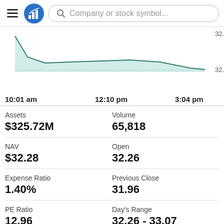Company or stock symbol...
[Figure (area-chart): Area chart showing stock price over a trading day from 10:01 am to 3:04 pm, with y-axis values 32.00 and 32.50. The area is filled with a light teal/green color.]
| Assets | Volume | NAV | Open | Expense Ratio | Previous Close | PE Ratio | Day's Range | Shares Out | 52-Week Low |
| --- | --- | --- | --- | --- | --- | --- | --- | --- | --- |
| $325.72M | 65,818 |
| $32.28 | 32.26 |
| 1.40% | 31.96 |
| 12.96 | 32.26 - 33.07 |